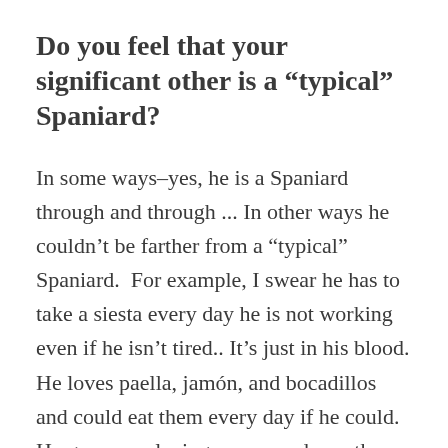Do you feel that your significant other is a “typical” Spaniard?
In some ways–yes, he is a Spaniard through and through ... In other ways he couldn’t be farther from a “typical” Spaniard.  For example, I swear he has to take a siesta every day he is not working even if he isn’t tired.. It’s just in his blood. He loves paella, jamón, and bocadillos and could eat them every day if he could.  He grew up playing soccer and was the captain of his team the last few years.  On the other hand, he is never too bothered when the Barca games are on and is open to moving and not staying around his small village where he is from.  He travels all over the world with me and is constantly wanting to see and do more.  He LOVES everything related to the ocean and his other love of...